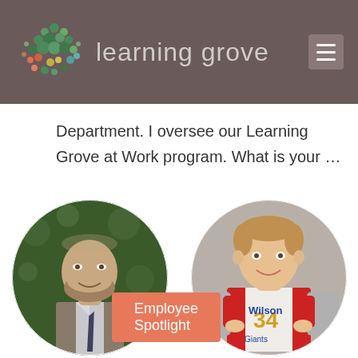[Figure (logo): Learning Grove logo with colorful dot pattern and text]
Department. I oversee our Learning Grove at Work program. What is your …
[Figure (photo): Professional headshot of adult male with beard in suit]
[Figure (photo): Childhood photo of young boy wearing Wilson #34 Giants jersey]
Employee Spotlight